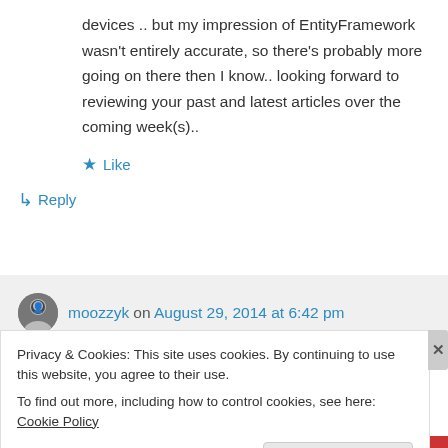devices .. but my impression of EntityFramework wasn't entirely accurate, so there's probably more going on there then I know.. looking forward to reviewing your past and latest articles over the coming week(s)..
★ Like
↳ Reply
moozzyk on August 29, 2014 at 6:42 pm
Privacy & Cookies: This site uses cookies. By continuing to use this website, you agree to their use.
To find out more, including how to control cookies, see here: Cookie Policy
Close and accept